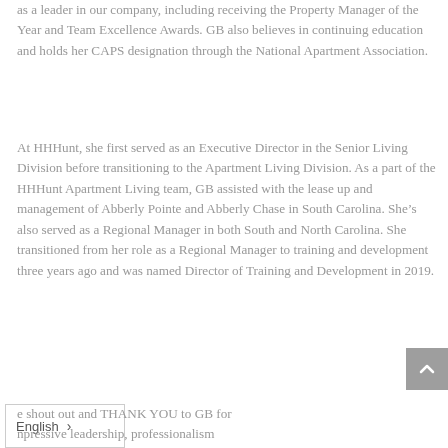as a leader in our company, including receiving the Property Manager of the Year and Team Excellence Awards. GB also believes in continuing education and holds her CAPS designation through the National Apartment Association.
At HHHunt, she first served as an Executive Director in the Senior Living Division before transitioning to the Apartment Living Division. As a part of the HHHunt Apartment Living team, GB assisted with the lease up and management of Abberly Pointe and Abberly Chase in South Carolina. She’s also served as a Regional Manager in both South and North Carolina. She transitioned from her role as a Regional Manager to training and development three years ago and was named Director of Training and Development in 2019.
e shout out and THANK YOU to GB for npressive leadership, professionalism